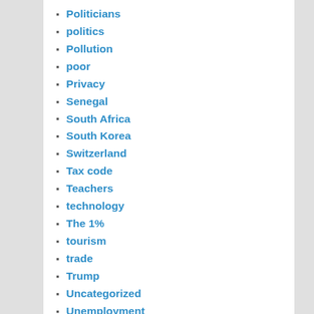Politicians
politics
Pollution
poor
Privacy
Senegal
South Africa
South Korea
Switzerland
Tax code
Teachers
technology
The 1%
tourism
trade
Trump
Uncategorized
Unemployment
United Nations
Vietnam
Zuma